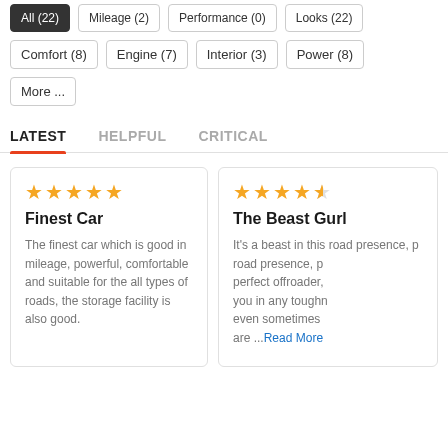All (22)
Mileage (2)
Performance (0)
Looks (22)
Comfort (8)
Engine (7)
Interior (3)
Power (8)
More ...
LATEST   HELPFUL   CRITICAL
★★★★★
Finest Car
The finest car which is good in mileage, powerful, comfortable and suitable for the all types of roads, the storage facility is also good.
★★★★½
The Beast Gurl
It's a beast in this road presence, p... perfect offroader, you in any toughn... even sometimes are ...Read More